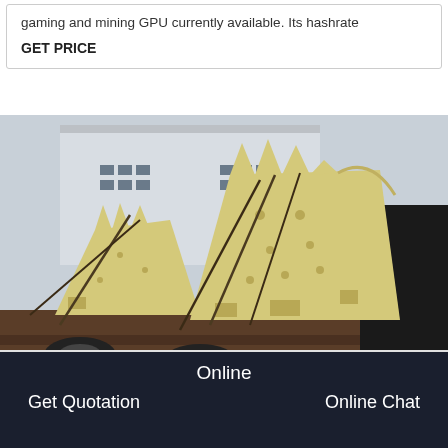gaming and mining GPU currently available. Its hashrate
GET PRICE
[Figure (photo): Two large yellow jaw crusher frames/side plates loaded on a flatbed truck parked in front of an industrial building. The heavy equipment parts are strapped with cables.]
Online
Get Quotation
Online Chat